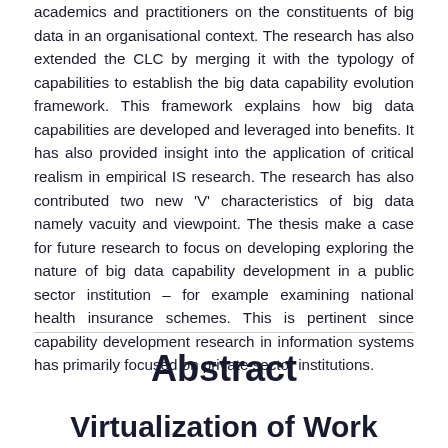academics and practitioners on the constituents of big data in an organisational context. The research has also extended the CLC by merging it with the typology of capabilities to establish the big data capability evolution framework. This framework explains how big data capabilities are developed and leveraged into benefits. It has also provided insight into the application of critical realism in empirical IS research. The research has also contributed two new 'V' characteristics of big data namely vacuity and viewpoint. The thesis make a case for future research to focus on developing exploring the nature of big data capability development in a public sector institution – for example examining national health insurance schemes. This is pertinent since capability development research in information systems has primarily focused on private sector institutions.
Abstract
Virtualization of Work